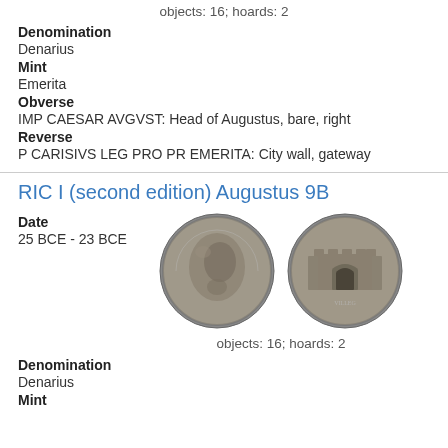objects: 16; hoards: 2
Denomination
Denarius
Mint
Emerita
Obverse
IMP CAESAR AVGVST: Head of Augustus, bare, right
Reverse
P CARISIVS LEG PRO PR EMERITA: City wall, gateway
RIC I (second edition) Augustus 9B
Date
25 BCE - 23 BCE
[Figure (photo): Two ancient Roman silver coins - obverse showing head of Augustus, reverse showing city wall with gateway]
objects: 16; hoards: 2
Denomination
Denarius
Mint